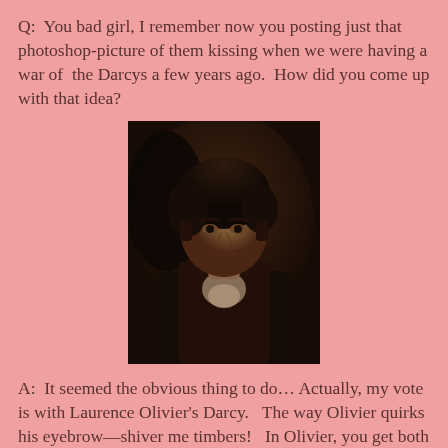Q:  You bad girl, I remember now you posting just that photoshop-picture of them kissing when we were having a war of  the Darcys a few years ago.  How did you come up with that idea?
[Figure (photo): Black and white / sepia photograph of a man in formal attire, looking intensely at the camera, likely Laurence Olivier as Mr. Darcy.]
A:  It seemed the obvious thing to do… Actually, my vote is with Laurence Olivier's Darcy.   The way Olivier quirks his eyebrow—shiver me timbers!   In Olivier, you get both Darcy and Rhett in the same guy—and he's dead, which is rather convenient and fitting, as there's no fear of him turning Mel Gibson doing a racist rant on us and embarrassing us.  You must admit: there's still a very real